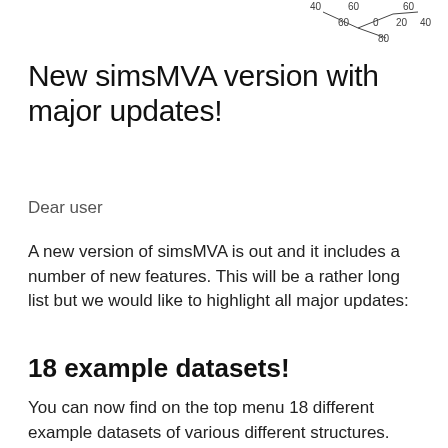[Figure (other): Partial view of a coordinate/axis diagram with numeric labels 40, 60, 0, 20, 40, 60, 80 visible in the upper right corner of the page]
New simsMVA version with major updates!
Dear user
A new version of simsMVA is out and it includes a number of new features. This will be a rather long list but we would like to highlight all major updates:
18 example datasets!
You can now find on the top menu 18 different example datasets of various different structures. This includes 4 examples of analytical techniques other than SIMS. This list of examples is as